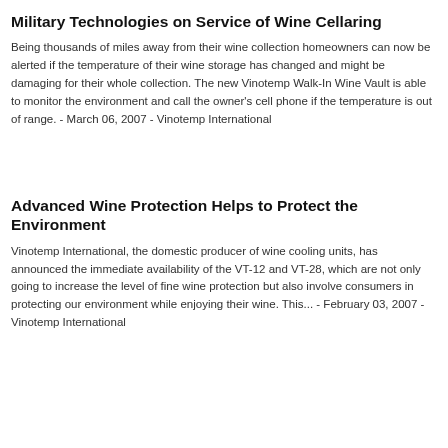Military Technologies on Service of Wine Cellaring
Being thousands of miles away from their wine collection homeowners can now be alerted if the temperature of their wine storage has changed and might be damaging for their whole collection. The new Vinotemp Walk-In Wine Vault is able to monitor the environment and call the owner's cell phone if the temperature is out of range. - March 06, 2007 - Vinotemp International
Advanced Wine Protection Helps to Protect the Environment
Vinotemp International, the domestic producer of wine cooling units, has announced the immediate availability of the VT-12 and VT-28, which are not only going to increase the level of fine wine protection but also involve consumers in protecting our environment while enjoying their wine. This... - February 03, 2007 - Vinotemp International